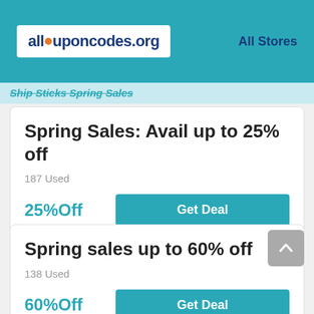[Figure (logo): allcouponcodes.org logo in white box on teal header]
All Stores
Ship Sticks Spring Sales
Spring Sales: Avail up to 25% off
187 Used
25%Off
Get Deal
Spring sales up to 60% off
138 Used
60%Off
Get Deal